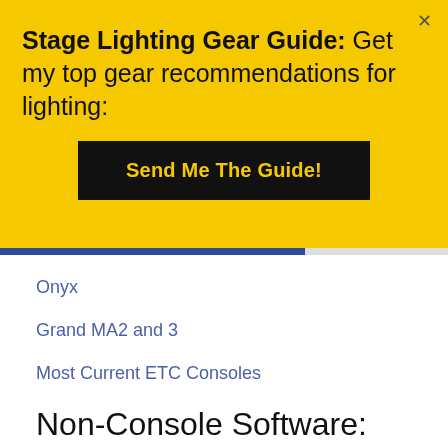Stage Lighting Gear Guide: Get my top gear recommendations for lighting:
Send Me The Guide!
Onyx
Grand MA2 and 3
Most Current ETC Consoles
Non-Console Software: